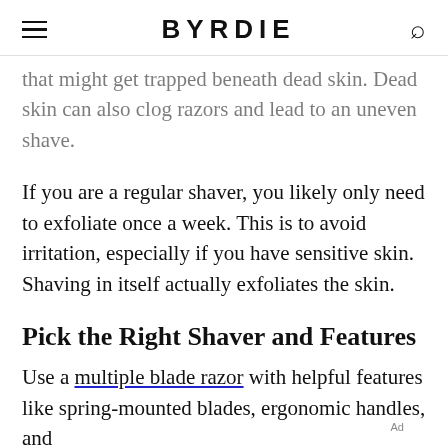BYRDIE
that might get trapped beneath dead skin. Dead skin can also clog razors and lead to an uneven shave.
If you are a regular shaver, you likely only need to exfoliate once a week. This is to avoid irritation, especially if you have sensitive skin. Shaving in itself actually exfoliates the skin.
Pick the Right Shaver and Features
Use a multiple blade razor with helpful features like spring-mounted blades, ergonomic handles, and